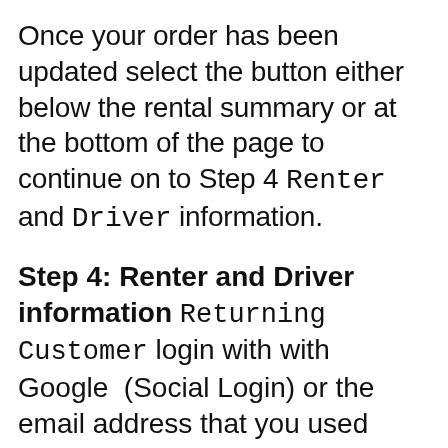Once your order has been updated select the button either below the rental summary or at the bottom of the page to continue on to Step 4 Renter and Driver information.
Step 4: Renter and Driver information Returning Customer login with with Google (Social Login) or the email address that you used from making a prior Booking. This can be helpful as you can review and update your user account with new or changed